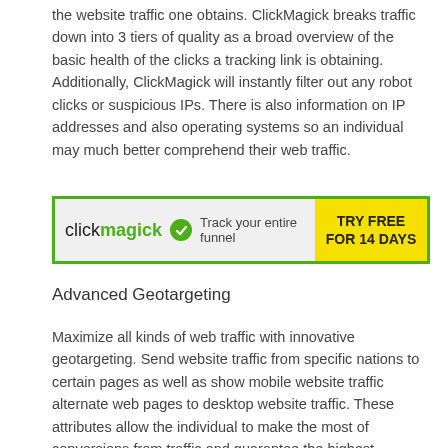the website traffic one obtains. ClickMagick breaks traffic down into 3 tiers of quality as a broad overview of the basic health of the clicks a tracking link is obtaining. Additionally, ClickMagick will instantly filter out any robot clicks or suspicious IPs. There is also information on IP addresses and also operating systems so an individual may much better comprehend their web traffic.
[Figure (other): ClickMagick advertisement banner: logo on left with tagline 'Track your entire funnel', yellow button on right reading 'TRY FREE FOR 14 DAYS']
Advanced Geotargeting
Maximize all kinds of web traffic with innovative geotargeting. Send website traffic from specific nations to certain pages as well as show mobile website traffic alternate web pages to desktop website traffic. These attributes allow the individual to make the most of conversions from traffic and guarantee the highest